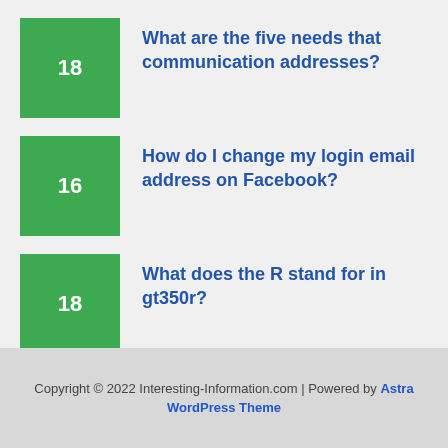18 — What are the five needs that communication addresses?
16 — How do I change my login email address on Facebook?
18 — What does the R stand for in gt350r?
38 — How do I transplant a hydrangea?
27 — How do I update my Arris router firmware?
Copyright © 2022 Interesting-Information.com | Powered by Astra WordPress Theme